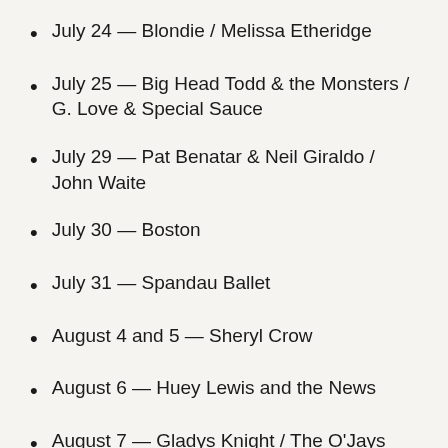July 24 — Blondie / Melissa Etheridge
July 25 — Big Head Todd & the Monsters / G. Love & Special Sauce
July 29 — Pat Benatar & Neil Giraldo / John Waite
July 30 — Boston
July 31 — Spandau Ballet
August 4 and 5 — Sheryl Crow
August 6 — Huey Lewis and the News
August 7 — Gladys Knight / The O'Jays
August 8 — Juanes
August 13 — Ziggy Marley / Steel Pulse